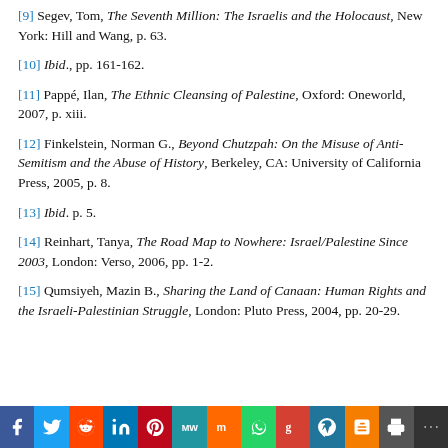[9] Segev, Tom, The Seventh Million: The Israelis and the Holocaust, New York: Hill and Wang, p. 63.
[10] Ibid., pp. 161-162.
[11] Pappé, Ilan, The Ethnic Cleansing of Palestine, Oxford: Oneworld, 2007, p. xiii.
[12] Finkelstein, Norman G., Beyond Chutzpah: On the Misuse of Anti-Semitism and the Abuse of History, Berkeley, CA: University of California Press, 2005, p. 8.
[13] Ibid. p. 5.
[14] Reinhart, Tanya, The Road Map to Nowhere: Israel/Palestine Since 2003, London: Verso, 2006, pp. 1-2.
[15] Qumsiyeh, Mazin B., Sharing the Land of Canaan: Human Rights and the Israeli-Palestinian Struggle, London: Pluto Press, 2004, pp. 20-29.
[Figure (infographic): Social sharing footer bar with icons: Facebook, Twitter, Reddit, LinkedIn, Pinterest, MeWe, Mix, WhatsApp, Goodreads, WordPress, Blogger, Print, More]